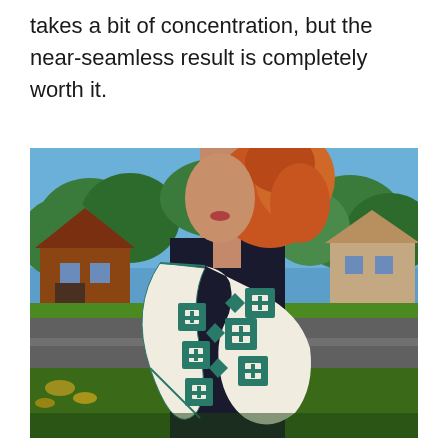takes a bit of concentration, but the near-seamless result is completely worth it.
[Figure (photo): A woman with curly red hair wearing a patterned infinity scarf with a teal and cream diamond/cross motif, standing outdoors on a sunny day with trees and houses in the background.]